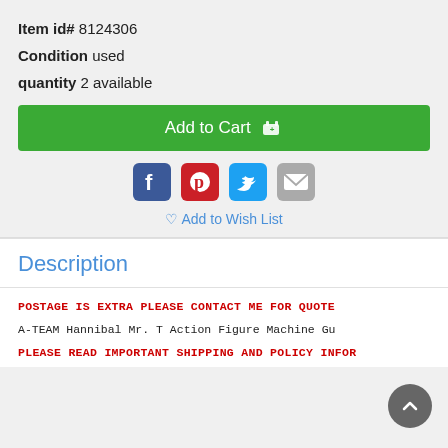Item id# 8124306
Condition used
quantity 2 available
Add to Cart
[Figure (infographic): Social media sharing icons: Facebook (blue), Pinterest (red), Twitter (blue), Email (gray)]
♡ Add to Wish List
Description
POSTAGE IS EXTRA PLEASE CONTACT ME FOR QUOTE
A-TEAM Hannibal Mr. T Action Figure Machine Gu
PLEASE READ IMPORTANT SHIPPING AND POLICY INFOR